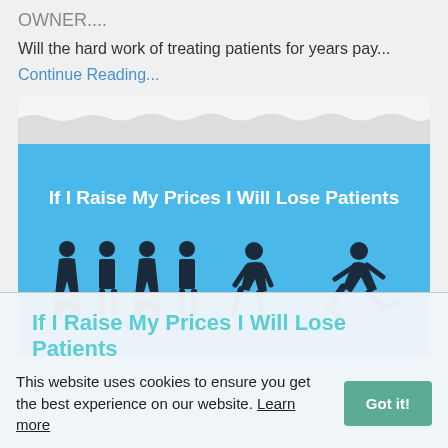OWNER....
Will the hard work of treating patients for years pay...
Continue Reading...
[Figure (illustration): Podcast episode card with blue background showing silhouette figures of people standing and one running away, titled 'If I Raise My Prices I Will Lose Patients', Episode 89. More Practice Profits Podcast. Torn paper decorative top edge.]
This website uses cookies to ensure you get the best experience on our website. Learn more
If I Raise My Prices I Will Lose Patients